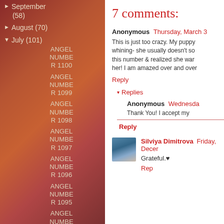September (58)
August (70)
▼ July (101)
ANGEL NUMBER 1100
ANGEL NUMBER 1099
ANGEL NUMBER 1098
ANGEL NUMBER 1097
ANGEL NUMBER 1096
ANGEL NUMBER 1095
ANGEL NUMBER NUMBE
7 comments:
Anonymous Thursday, March 3
This is just too crazy. My puppy whining- she usually doesn't so this number & realized she wan her! I am amazed over and over
Reply
▾ Replies
Anonymous Wednesda
Thank You! I accept my
Reply
Silviya Dimitrova Friday, Decer
Grateful.♥
Reply